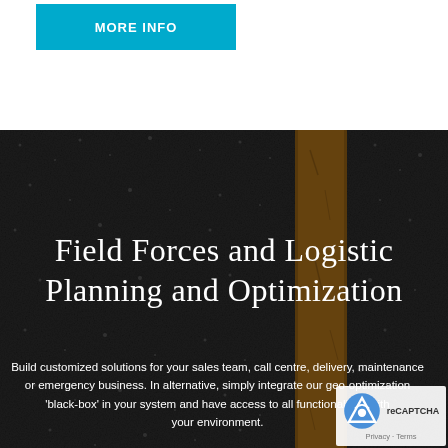[Figure (other): Blue 'MORE INFO' button on white background]
[Figure (photo): Dark asphalt road texture with an amber/orange painted center line stripe running vertically]
Field Forces and Logistic Planning and Optimization
Build customized solutions for your sales team, call centre, delivery, maintenance or emergency business. In alternative, simply integrate our geo-optimization 'black-box' in your system and have access to all functionalities within your environment.